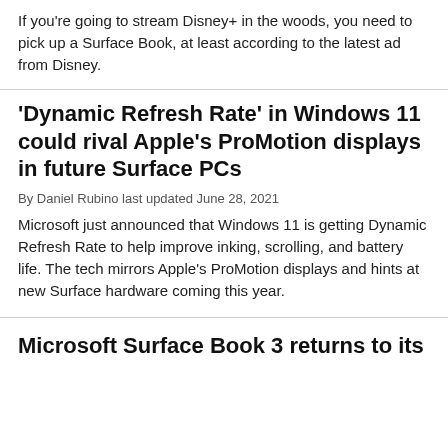If you're going to stream Disney+ in the woods, you need to pick up a Surface Book, at least according to the latest ad from Disney.
'Dynamic Refresh Rate' in Windows 11 could rival Apple's ProMotion displays in future Surface PCs
By Daniel Rubino last updated June 28, 2021
Microsoft just announced that Windows 11 is getting Dynamic Refresh Rate to help improve inking, scrolling, and battery life. The tech mirrors Apple's ProMotion displays and hints at new Surface hardware coming this year.
Microsoft Surface Book 3 returns to its